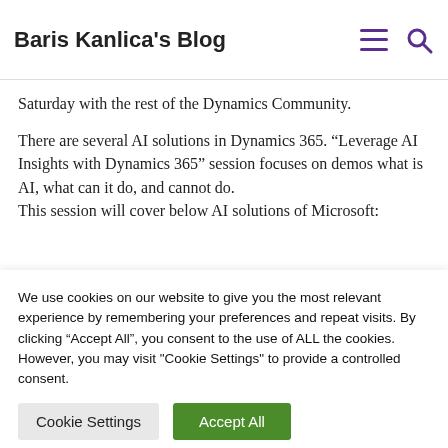Baris Kanlica's Blog
Saturday with the rest of the Dynamics Community.
There are several AI solutions in Dynamics 365. “Leverage AI Insights with Dynamics 365” session focuses on demos what is AI, what can it do, and cannot do.
This session will cover below AI solutions of Microsoft:
We use cookies on our website to give you the most relevant experience by remembering your preferences and repeat visits. By clicking “Accept All”, you consent to the use of ALL the cookies. However, you may visit "Cookie Settings" to provide a controlled consent.